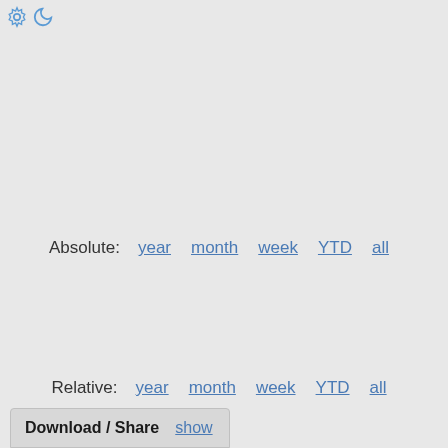[Figure (other): Gear/settings icon and moon/dark-mode icon in top-left corner]
Absolute: year month week YTD all
Relative: year month week YTD all
Download / Share show